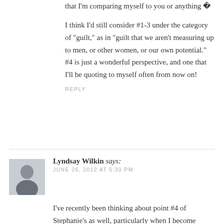that I’m comparing myself to you or anything �
I think I’d still consider #1-3 under the category of “guilt,” as in “guilt that we aren’t measuring up to men, or other women, or our own potential.” #4 is just a wonderful perspective, and one that I’ll be quoting to myself often from now on!
REPLY
Lyndsay Wilkin says:
JUNE 26, 2012 AT 5:30 PM
I’ve recently been thinking about point #4 of Stephanie’s as well, particularly when I become frustrated that I can’t be a wife with a full-time job, a mother, go to law school, and pursue my acting – all at once. I often think that if I was the super woman I’m